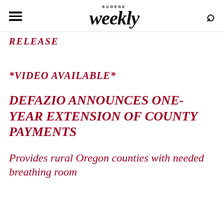EUGENE Weekly
RELEASE
*VIDEO AVAILABLE*
DEFAZIO ANNOUNCES ONE-YEAR EXTENSION OF COUNTY PAYMENTS
Provides rural Oregon counties with needed breathing room